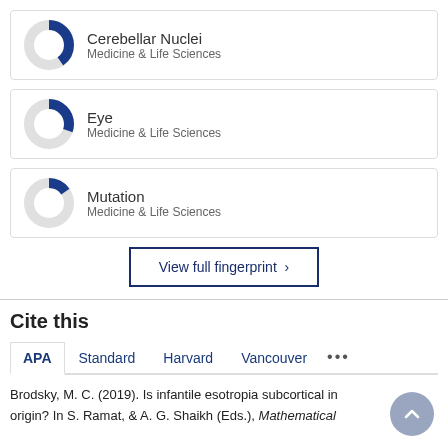[Figure (donut-chart): Donut chart showing partial fill (about 40%) in dark blue for Cerebellar Nuclei, Medicine & Life Sciences]
Cerebellar Nuclei
Medicine & Life Sciences
[Figure (donut-chart): Donut chart showing partial fill (about 30%) in dark blue for Eye, Medicine & Life Sciences]
Eye
Medicine & Life Sciences
[Figure (donut-chart): Donut chart showing partial fill (about 15%) in dark blue for Mutation, Medicine & Life Sciences]
Mutation
Medicine & Life Sciences
View full fingerprint ›
Cite this
APA   Standard   Harvard   Vancouver   ...
Brodsky, M. C. (2019). Is infantile esotropia subcortical in origin? In S. Ramat, & A. G. Shaikh (Eds.), Mathematical